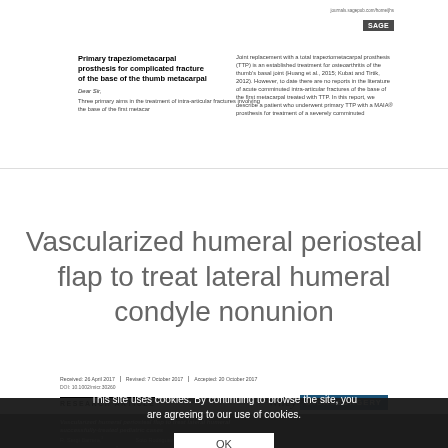[Figure (screenshot): SAGE journal logo at top right of preview article]
Primary trapeziometacarpal prosthesis for complicated fracture of the base of the thumb metacarpal
Dear Sir,
Three primary aims in the treatment of intra-articular fractures involving the base of the first metacarpal...
Joint replacement with a total trapeziometacarpal prosthesis (TTP) is an established treatment for osteoarthritis of the thumb's basal joint (Huang et al., 2015; Kubat and Tirtik, 2012). However, to date there are no reports in the literature of acute comminuted intra-articular fractures of the base of the first metacarpal treated with TTP. In this report, we describe a patient who underwent primary TTP with a MAIA® prosthesis for treatment of a severely comminuted...
Vascularized humeral periosteal flap to treat lateral humeral condyle nonunion
Received: 26 April 2017 | Revised: 7 October 2017 | Accepted: 20 October 2017
DOI: 10.1002/micr.30260
RESEARCH ARTICLE
[Figure (logo): Wiley Microsurgery journal logo]
Vascularized humeral periosteal flap to treat lateral humeral condyle nonunion in successfully-treated pediatric cases
This site uses cookies. By continuing to browse the site, you are agreeing to our use of cookies.
OK